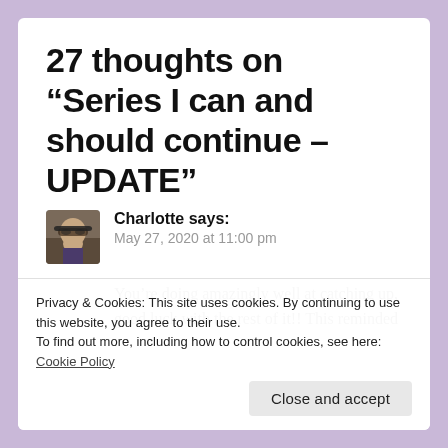27 thoughts on “Series I can and should continue – UPDATE”
[Figure (photo): Avatar photo of Charlotte, a person wearing sunglasses, square thumbnail]
Charlotte says:
May 27, 2020 at 11:00 pm
You’re doing amazingly well at catching up, good luck with the rest of it!! This reminded
Privacy & Cookies: This site uses cookies. By continuing to use this website, you agree to their use.
To find out more, including how to control cookies, see here: Cookie Policy
Close and accept